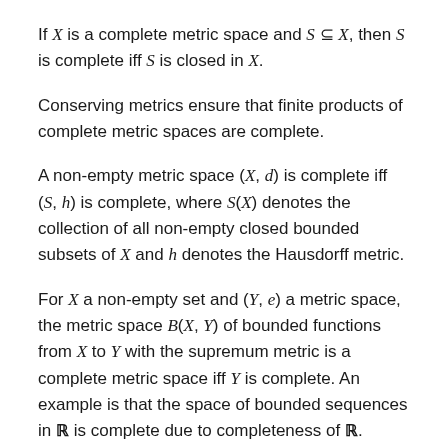If X is a complete metric space and S ⊆ X, then S is complete iff S is closed in X.
Conserving metrics ensure that finite products of complete metric spaces are complete.
A non-empty metric space (X, d) is complete iff (S, h) is complete, where S(X) denotes the collection of all non-empty closed bounded subsets of X and h denotes the Hausdorff metric.
For X a non-empty set and (Y, e) a metric space, the metric space B(X, Y) of bounded functions from X to Y with the supremum metric is a complete metric space iff Y is complete. An example is that the space of bounded sequences in ℝ is complete due to completeness of ℝ.